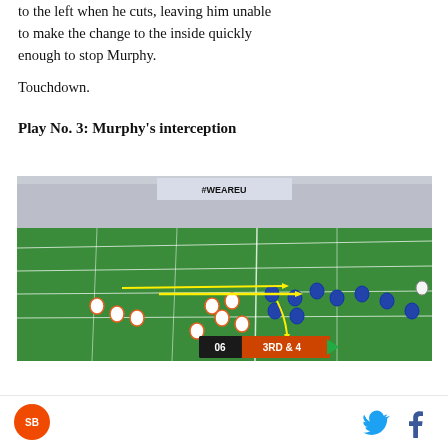to the left when he cuts, leaving him unable to make the change to the inside quickly enough to stop Murphy.
Touchdown.
Play No. 3: Murphy's interception
[Figure (photo): Football game screenshot showing a play diagram on the field with yellow arrows indicating player routes. Score overlay shows '06 3RD & 4'. Teams in white/orange vs blue uniforms. Crowd visible in background with #WEAREU signage.]
Site logo icon | Twitter bird icon | Facebook f icon